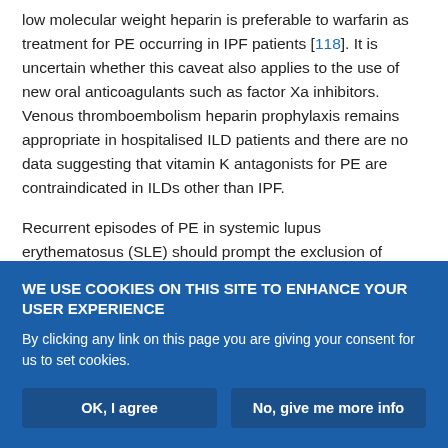low molecular weight heparin is preferable to warfarin as treatment for PE occurring in IPF patients [118]. It is uncertain whether this caveat also applies to the use of new oral anticoagulants such as factor Xa inhibitors. Venous thromboembolism heparin prophylaxis remains appropriate in hospitalised ILD patients and there are no data suggesting that vitamin K antagonists for PE are contraindicated in ILDs other than IPF.
Recurrent episodes of PE in systemic lupus erythematosus (SLE) should prompt the exclusion of secondary antiphospholipid syndrome (APS), associated with lupus anticoagulant positivity or the presence of anti-cardiolipin or anti-β2 glycoprotein 1 antibodies. The
WE USE COOKIES ON THIS SITE TO ENHANCE YOUR USER EXPERIENCE
By clicking any link on this page you are giving your consent for us to set cookies.